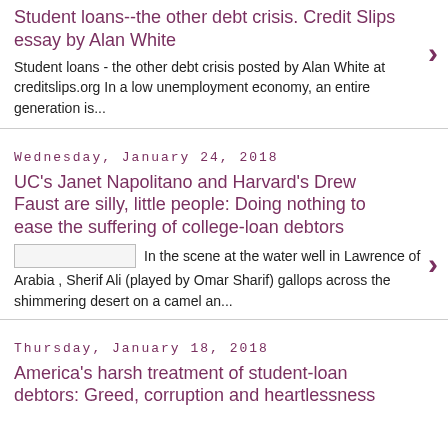Student loans--the other debt crisis. Credit Slips essay by Alan White
Student loans - the other debt crisis posted by Alan White at creditslips.org In a low unemployment economy, an entire generation is...
Wednesday, January 24, 2018
UC's Janet Napolitano and Harvard's Drew Faust are silly, little people: Doing nothing to ease the suffering of college-loan debtors
In the scene at the water well in Lawrence of Arabia , Sherif Ali (played by Omar Sharif) gallops across the shimmering desert on a camel an...
Thursday, January 18, 2018
America's harsh treatment of student-loan debtors: Greed, corruption and heartlessness